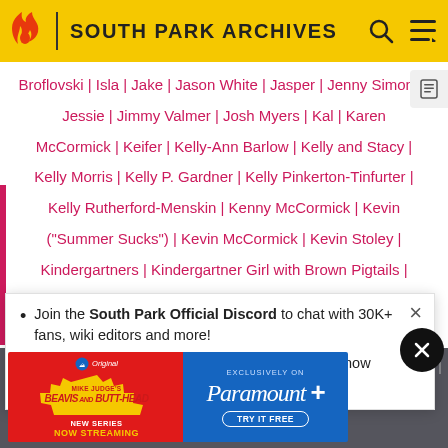SOUTH PARK ARCHIVES
Broflovski | Isla | Jake | Jason White | Jasper | Jenny Simons | Jessie | Jimmy Valmer | Josh Myers | Kal | Karen McCormick | Keifer | Kelly-Ann Barlow | Kelly and Stacy | Kelly Morris | Kelly P. Gardner | Kelly Pinkerton-Tinfurter | Kelly Rutherford-Menskin | Kenny McCormick | Kevin ("Summer Sucks") | Kevin McCormick | Kevin Stoley | Kindergartners | Kindergartner Girl with Brown Pigtails |
Join the South Park Official Discord to chat with 30K+ fans, wiki editors and more!
South Park: The 25th Anniversary Concert is now out on Paramount Plus and Comedy Central.
Cooper | Mike Makowski | Millie Larsen | Mimsy | Monica Ryla... els | Patty... Peter Mull... hur | Sal... rah Peter... man | Shauna | Shelley Marsh | Sophie Gray | Stan Marsh | Tall...
[Figure (advertisement): Beavis and Butt-Head new series now streaming advertisement for Paramount+ exclusively]